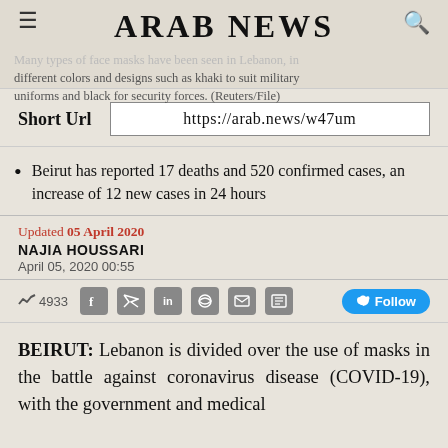ARAB NEWS
Many types of face masks have been seen in Lebanon, in different colors and designs such as khaki to suit military uniforms and black for security forces. (Reuters/File)
Short Url  https://arab.news/w47um
Beirut has reported 17 deaths and 520 confirmed cases, an increase of 12 new cases in 24 hours
Updated 05 April 2020
NAJIA HOUSSARI
April 05, 2020 00:55
4933  Follow
BEIRUT: Lebanon is divided over the use of masks in the battle against coronavirus disease (COVID-19), with the government and medical